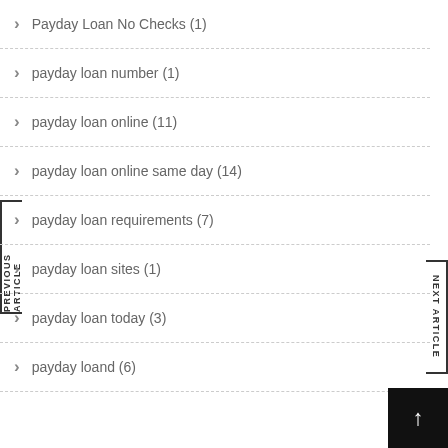Payday Loan No Checks (1)
payday loan number (1)
payday loan online (11)
payday loan online same day (14)
payday loan requirements (7)
payday loan sites (1)
payday loan today (3)
payday loand (6)